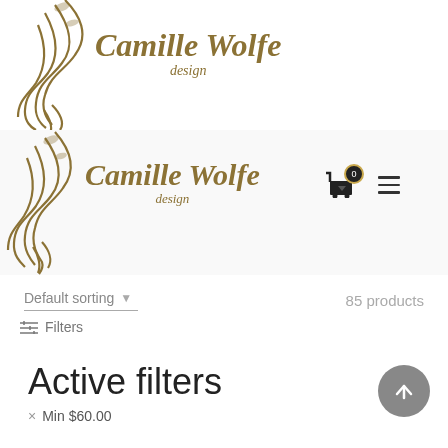[Figure (logo): Camille Wolfe Design logo — decorative gold feather/flame graphic with italic serif text 'Camille Wolfe design' in gold/olive color (top, partially visible)]
[Figure (logo): Camille Wolfe Design logo — decorative gold feather/flame graphic with italic serif text 'Camille Wolfe design' in gold/olive color (sticky navigation bar), with cart icon showing 0 items and hamburger menu]
Default sorting
85 products
≡  Filters
Active filters
× Min $60.00